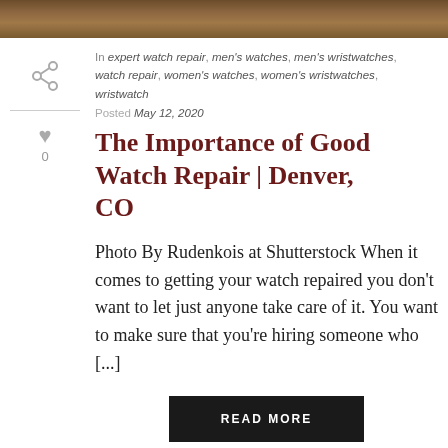[Figure (photo): Top banner photo of watches or animal fur texture in brown tones]
In expert watch repair, men's watches, men's wristwatches, watch repair, women's watches, women's wristwatches, wristwatch
Posted May 12, 2020
The Importance of Good Watch Repair | Denver, CO
Photo By Rudenkois at Shutterstock When it comes to getting your watch repaired you don't want to let just anyone take care of it. You want to make sure that you're hiring someone who [...]
READ MORE